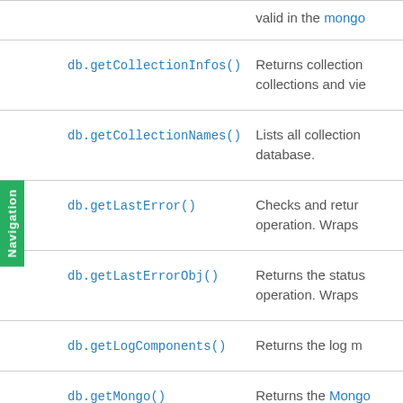| Method | Description |
| --- | --- |
|  | valid in the mongo |
| db.getCollectionInfos() | Returns collection collections and vie |
| db.getCollectionNames() | Lists all collection database. |
| db.getLastError() | Checks and return operation. Wraps |
| db.getLastErrorObj() | Returns the status operation. Wraps |
| db.getLogComponents() | Returns the log m |
| db.getMongo() | Returns the Mongo the current connec |